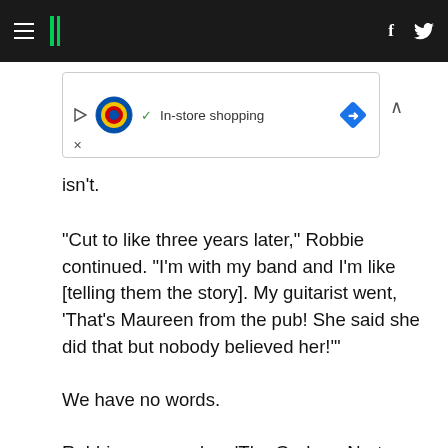HuffPost navigation header with hamburger menu, logo, Facebook and Twitter icons
[Figure (other): Lidl advertisement banner showing In-store shopping with play button, Lidl logo, checkmark, and navigation arrow diamond icon]
isn't.
“Cut to like three years later,” Robbie continued. “I’m with my band and I’m like [telling them the story]. My guitarist went, ‘That’s Maureen from the pub! She said she did that but nobody believed her!’”
We have no words.
Robbie appeared on ‘The Graham Norton Show’ alongside Justin Timberlake, Anna Kendrick and